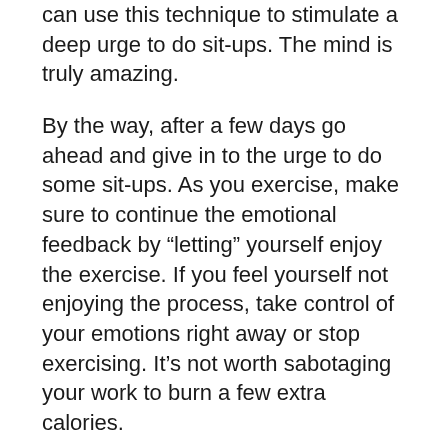can use this technique to stimulate a deep urge to do sit-ups. The mind is truly amazing.
By the way, after a few days go ahead and give in to the urge to do some sit-ups. As you exercise, make sure to continue the emotional feedback by “letting” yourself enjoy the exercise. If you feel yourself not enjoying the process, take control of your emotions right away or stop exercising. It’s not worth sabotaging your work to burn a few extra calories.
Don’t push your body, push your mind! Your mind is the only gymnasium that really matters. Eventually, your mind will push your body and you will be able to enjoy the process.